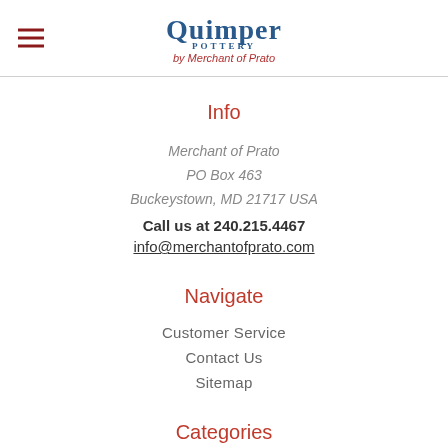Quimper Pottery by Merchant of Prato
Info
Merchant of Prato
PO Box 463
Buckeystown, MD 21717 USA
Call us at 240.215.4467
info@merchantofprato.com
Navigate
Customer Service
Contact Us
Sitemap
Categories